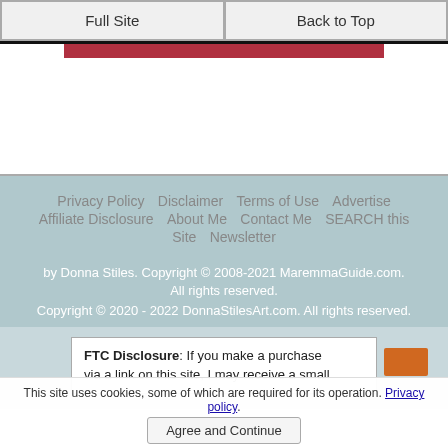Full Site | Back to Top
[Figure (other): Red horizontal bar and white space area]
Privacy Policy  Disclaimer  Terms of Use  Advertise  Affiliate Disclosure  About Me  Contact Me  SEARCH this Site  Newsletter
by Donna Stiles. Copyright © 2008-2021 MaremmaGuide.com. All rights reserved.
Copyright © 2020 - 2022 DonnaStilesArt.com. All rights reserved.
FTC Disclosure: If you make a purchase via a link on this site, I may receive a small
This site uses cookies, some of which are required for its operation. Privacy policy.
Agree and Continue